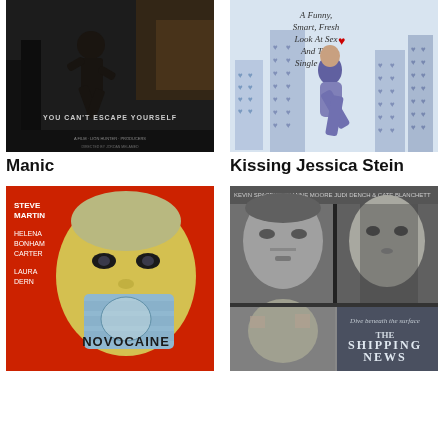[Figure (photo): Movie poster for Manic - dark background, person running, text 'YOU CAN'T ESCAPE YOURSELF']
[Figure (photo): Movie poster for Kissing Jessica Stein - woman sitting on cityscape with hearts, text 'A Funny, Smart, Fresh Look At Sex And The Single Girl']
Manic
Kissing Jessica Stein
[Figure (photo): Movie poster for Novocaine - Andy Warhol style pop art of man with surgical mask, red background, yellow and blue colors, text 'NOVOCAINE', starring Steve Martin, Helena Bonham Carter, Laura Dern]
[Figure (photo): Movie poster for The Shipping News - black and white collage of faces (Kevin Spacey, Julianne Moore, Judi Dench, Cate Blanchett), text 'THE SHIPPING NEWS', tagline 'Dive beneath the surface']